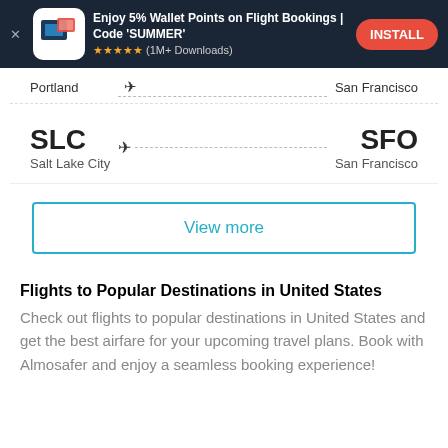[Figure (screenshot): App install ad banner with dark background, app icon, title 'Enjoy 5% Wallet Points on Flight Bookings | Code SUMMER', 5 star rating, (1M+ Downloads), and red INSTALL button]
Portland → San Francisco
SLC Salt Lake City → SFO San Francisco
View more
Flights to Popular Destinations in United States
Check out flights to popular destinations in United States and get the best airfare for your upcoming travel plans. Book with Almosafer and enjoy a seamless booking experience!